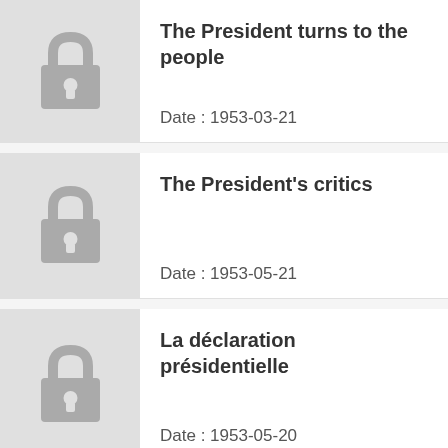[Figure (illustration): Lock icon on grey background]
The President turns to the people
Date : 1953-03-21
[Figure (illustration): Lock icon on grey background]
The President's critics
Date : 1953-05-21
[Figure (illustration): Lock icon on grey background]
La déclaration présidentielle
Date : 1953-05-20